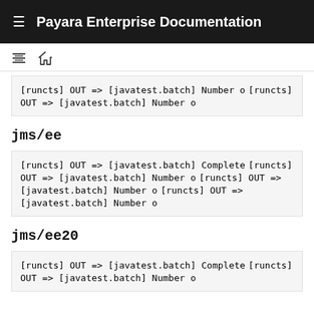Payara Enterprise Documentation
[runcts] OUT => [javatest.batch] Number o
[runcts] OUT => [javatest.batch] Number o
jms/ee
[runcts] OUT => [javatest.batch] Complete
[runcts] OUT => [javatest.batch] Number o
[runcts] OUT => [javatest.batch] Number o
[runcts] OUT => [javatest.batch] Number o
jms/ee20
[runcts] OUT => [javatest.batch] Complete
[runcts] OUT => [javatest.batch] Number o